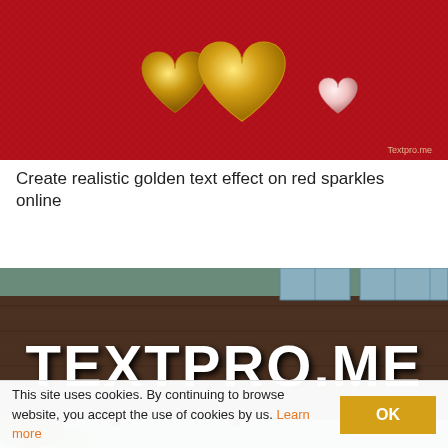[Figure (illustration): Red sparkly background with three golden heart shapes and one small pink/white heart, with 'Textpro.me' watermark in lower right corner.]
Create realistic golden text effect on red sparkles online
[Figure (photo): Building exterior with brown wood cladding and large white bold text 'TEXTPRO.ME' mounted on the facade, with windows and greenery visible.]
This site uses cookies. By continuing to browse website, you accept the use of cookies by us. Learn more